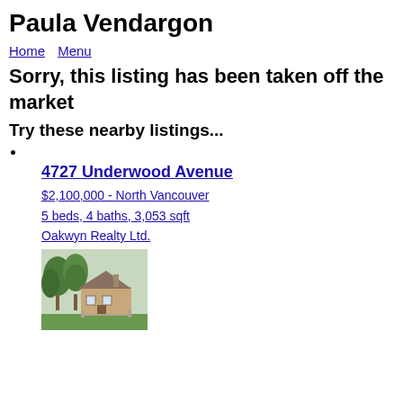Paula Vendargon
Home   Menu
Sorry, this listing has been taken off the market
Try these nearby listings...
4727 Underwood Avenue
$2,100,000 - North Vancouver
5 beds, 4 baths, 3,053 sqft
Oakwyn Realty Ltd.
[Figure (photo): Exterior photo of a house at 4727 Underwood Avenue, North Vancouver, with trees in front]